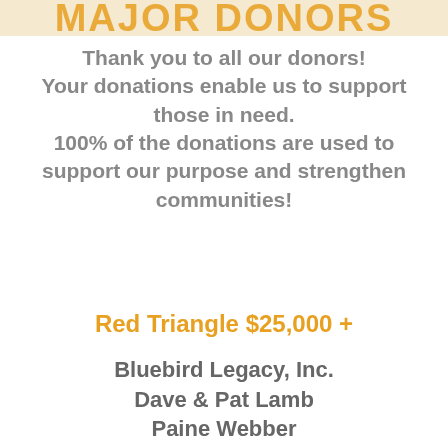MAJOR DONORS
Thank you to all our donors! Your donations enable us to support those in need. 100% of the donations are used to support our purpose and strengthen communities!
Red Triangle $25,000 +
Bluebird Legacy, Inc.
Dave & Pat Lamb
Paine Webber